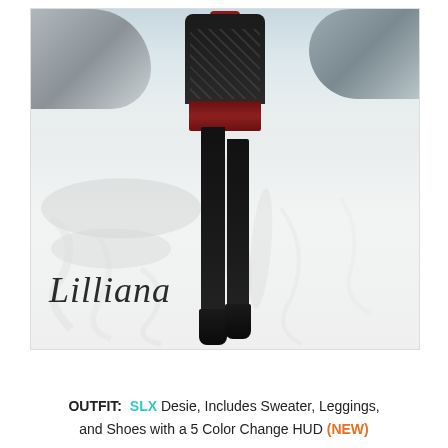[Figure (photo): A virtual-world (Second Life) female avatar wearing a black argyle sweater, red mini skirt, black leggings, and black ankle boots, walking on a snowy landscape. The brand name 'Lilliana' appears in cursive script in the lower-left of the image.]
OUTFIT:  SLX Desie, Includes Sweater, Leggings, and Shoes with a 5 Color Change HUD (NEW)